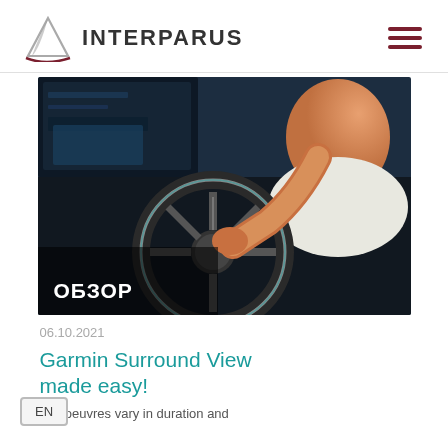INTERPARUS
[Figure (photo): Person at a boat helm/steering wheel viewed from behind, with navigation screens visible, cockpit environment]
ОБЗОР
06.10.2021
Garmin Surround View made easy!
Manoeuvres vary in duration and